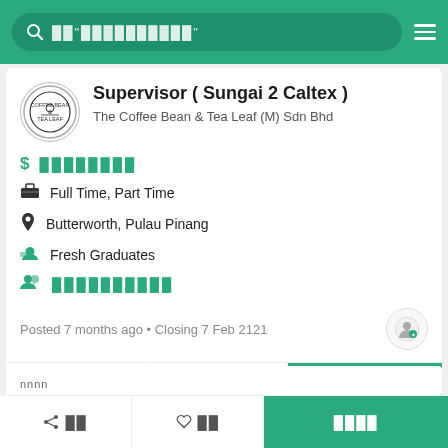Search bar with placeholder text
Supervisor ( Sungai 2 Caltex )
The Coffee Bean & Tea Leaf (M) Sdn Bhd
$ [salary hidden]
Full Time, Part Time
Butterworth, Pulau Pinang
Fresh Graduates
[applicants hidden]
Posted 7 months ago • Closing 7 Feb 2121
[bottom section text]